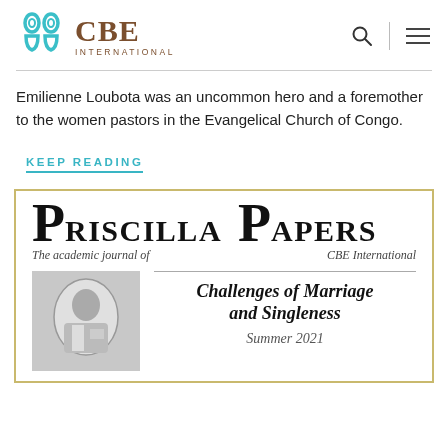[Figure (logo): CBE International logo with teal icon and brown text]
Emilienne Loubota was an uncommon hero and a foremother to the women pastors in the Evangelical Church of Congo.
KEEP READING
[Figure (illustration): Priscilla Papers journal cover showing title 'Priscilla Papers - The academic journal of CBE International' with a historical portrait photograph and the text 'Challenges of Marriage and Singleness, Summer 2021']